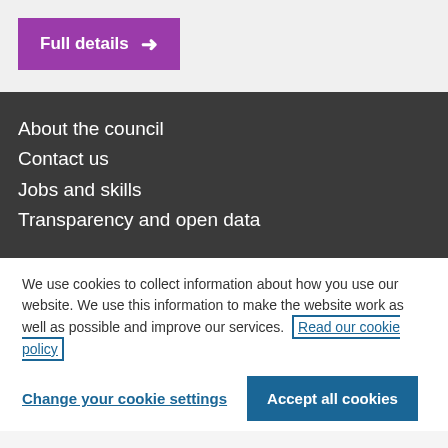Full details →
About the council
Contact us
Jobs and skills
Transparency and open data
We use cookies to collect information about how you use our website. We use this information to make the website work as well as possible and improve our services. Read our cookie policy
Change your cookie settings
Accept all cookies